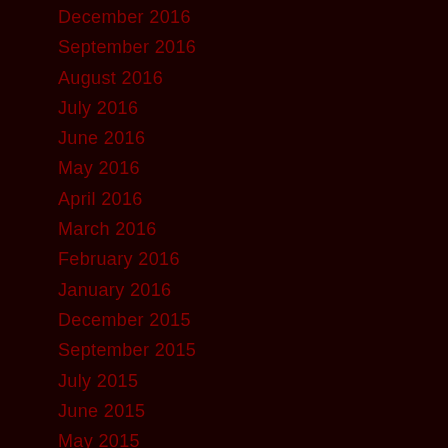December 2016
September 2016
August 2016
July 2016
June 2016
May 2016
April 2016
March 2016
February 2016
January 2016
December 2015
September 2015
July 2015
June 2015
May 2015
April 2015
March 2015
February 2015
January 2015